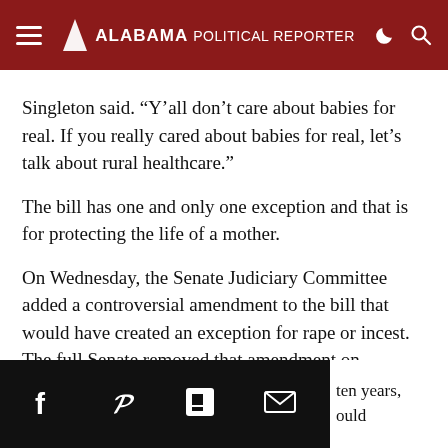Alabama Political Reporter
Singleton said. “Y’all don’t care about babies for real. If you really cared about babies for real, let’s talk about rural healthcare.”
The bill has one and only one exception and that is for protecting the life of a mother.
On Wednesday, the Senate Judiciary Committee added a controversial amendment to the bill that would have created an exception for rape or incest. The full Senate removed that amendment on Thursday and voted down another attempt Tuesday to add the exceptions back to the bill.
ten years, ould